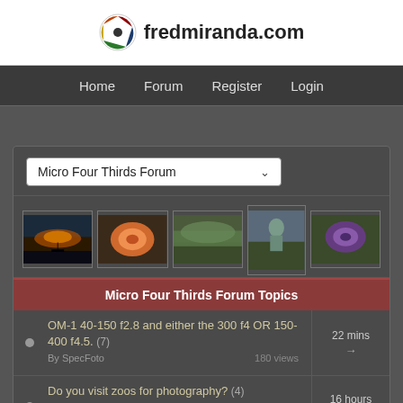fredmiranda.com
Home | Forum | Register | Login
Micro Four Thirds Forum (dropdown)
[Figure (photo): Strip of 5 forum photo thumbnails: sunset/boat scene, orange flower, garden/greenery, bronze statue, purple iris flower]
Micro Four Thirds Forum Topics
OM-1 40-150 f2.8 and either the 300 f4 OR 150-400 f4.5. (7) By SpecFoto  180 views  22 mins
Do you visit zoos for photography? (4) By Sagar  100 views  16 hours
OLYMPUS M.150-400mm F4.5 - How much do ...  47...